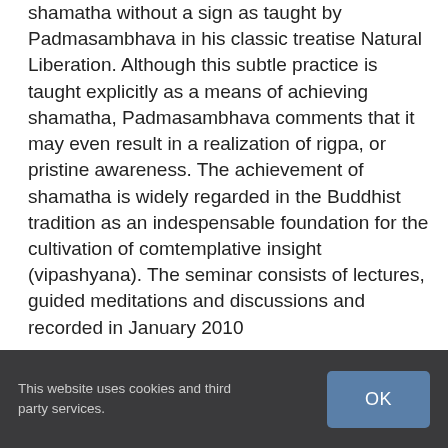shamatha without a sign as taught by Padmasambhava in his classic treatise Natural Liberation. Although this subtle practice is taught explicitly as a means of achieving shamatha, Padmasambhava comments that it may even result in a realization of rigpa, or pristine awareness. The achievement of shamatha is widely regarded in the Buddhist tradition as an indespensable foundation for the cultivation of comtemplative insight (vipashyana). The seminar consists of lectures, guided meditations and discussions and recorded in January 2010
This website uses cookies and third party services.